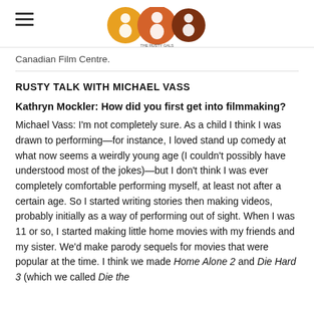[Logo: The Rusty Gal with three circular icons]
Canadian Film Centre.
RUSTY TALK WITH MICHAEL VASS
Kathryn Mockler: How did you first get into filmmaking?
Michael Vass: I'm not completely sure. As a child I think I was drawn to performing—for instance, I loved stand up comedy at what now seems a weirdly young age (I couldn't possibly have understood most of the jokes)—but I don't think I was ever completely comfortable performing myself, at least not after a certain age. So I started writing stories then making videos, probably initially as a way of performing out of sight. When I was 11 or so, I started making little home movies with my friends and my sister. We'd make parody sequels for movies that were popular at the time. I think we made Home Alone 2 and Die Hard 3 (which we called Die the